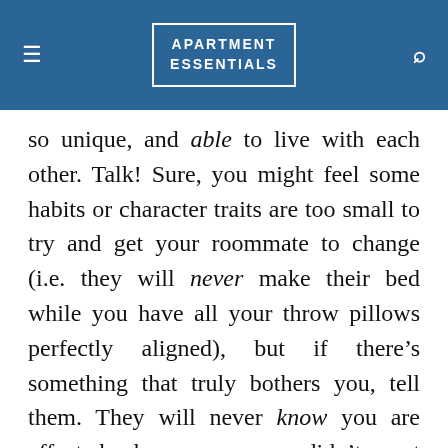APARTMENT ESSENTIALS
so unique, and able to live with each other. Talk! Sure, you might feel some habits or character traits are too small to try and get your roommate to change (i.e. they will never make their bed while you have all your throw pillows perfectly aligned), but if there’s something that truly bothers you, tell them. They will never know you are affected because you didn’t get randomly paired with the Class of 2022’s only psychic. It’s also better to address these things calmly when they first arise, because if you let your irritation fester, and the bad habit continues, you’ll find yourself irrationally blowing up to a roommate who is frustrated you’ve